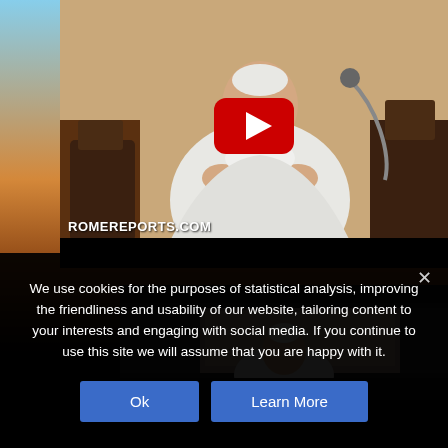[Figure (screenshot): YouTube video thumbnail showing a figure in white papal robes reading from papers, seated in a chair with a microphone. Video player interface with YouTube play button overlay. Watermark text ROMEREPORTS.COM in bottom left. Black letterbox bar at bottom.]
[Figure (screenshot): Second video thumbnail below the first, showing a partial view of a figure in white robes, with black bars at top and bottom.]
We use cookies for the purposes of statistical analysis, improving the friendliness and usability of our website, tailoring content to your interests and engaging with social media. If you continue to use this site we will assume that you are happy with it.
Ok
Learn More